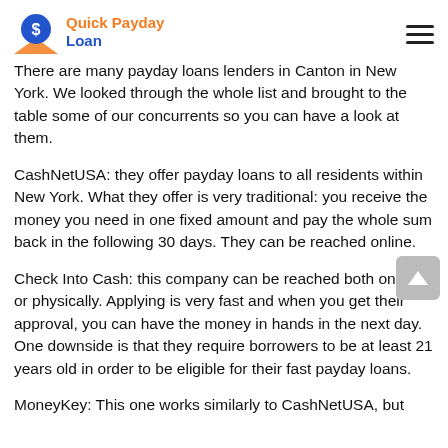Quick Payday Loan
There are many payday loans lenders in Canton in New York. We looked through the whole list and brought to the table some of our concurrents so you can have a look at them.
CashNetUSA: they offer payday loans to all residents within New York. What they offer is very traditional: you receive the money you need in one fixed amount and pay the whole sum back in the following 30 days. They can be reached online.
Check Into Cash: this company can be reached both online or physically. Applying is very fast and when you get their approval, you can have the money in hands in the next day. One downside is that they require borrowers to be at least 21 years old in order to be eligible for their fast payday loans.
MoneyKey: This one works similarly to CashNetUSA, but